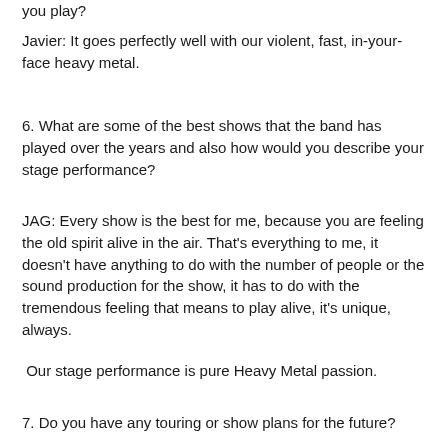you play?
Javier: It goes perfectly well with our violent, fast, in-your-face heavy metal.
6. What are some of the best shows that the band has played over the years and also how would you describe your stage performance?
JAG: Every show is the best for me, because you are feeling the old spirit alive in the air. That's everything to me, it doesn't have anything to do with the number of people or the sound production for the show, it has to do with the tremendous feeling that means to play alive, it's unique, always.
Our stage performance is pure Heavy Metal passion.
7. Do you have any touring or show plans for the future?